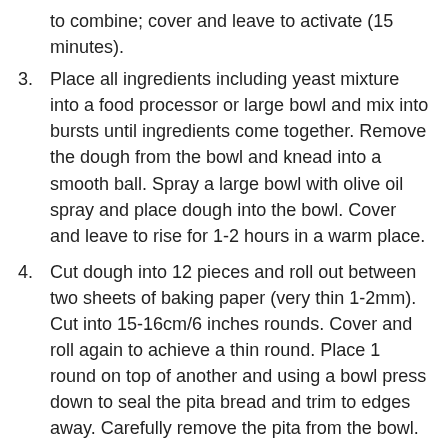to combine; cover and leave to activate (15 minutes).
3. Place all ingredients including yeast mixture into a food processor or large bowl and mix into bursts until ingredients come together. Remove the dough from the bowl and knead into a smooth ball. Spray a large bowl with olive oil spray and place dough into the bowl. Cover and leave to rise for 1-2 hours in a warm place.
4. Cut dough into 12 pieces and roll out between two sheets of baking paper (very thin 1-2mm). Cut into 15-16cm/6 inches rounds. Cover and roll again to achieve a thin round. Place 1 round on top of another and using a bowl press down to seal the pita bread and trim to edges away. Carefully remove the pita from the bowl.
5. Place a pizza stone into the oven and preheat to 250°C fan forced or 270°C static.
6. If baking, place the pita onto the hot pizza stone and bake 3-4 minutes flipping the pita after 2 minutes. The pita should puff up and be soft. Transfer to a kitchen